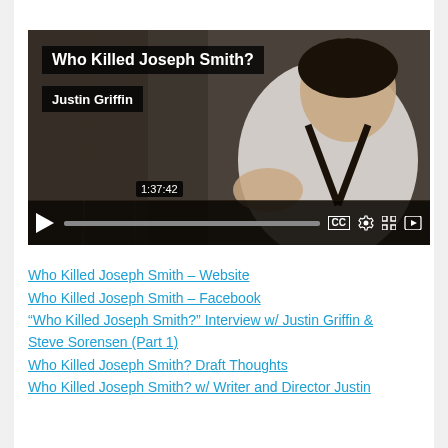[Figure (screenshot): Embedded video player showing 'Who Killed Joseph Smith?' by Justin Griffin. Duration 1:37:42. Controls visible including play button, progress bar, CC, settings, fullscreen, and Vimeo logo.]
Who Killed Joseph Smith – Website
Who Killed Joseph Smith – Facebook
“Who Killed Joseph Smith?” Interview w/ Justin Griffin & Steve Sorensen (Part 1)
Who Killed Joseph Smith? Draft Thoughts
Who Killed Joseph Smith? w/ Writer and Director Justin